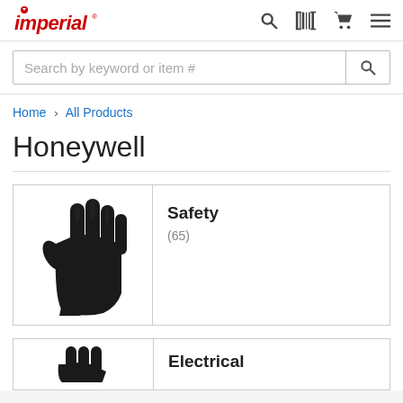Imperial (logo) — navigation bar with search, barcode, cart, and menu icons
Search by keyword or item #
Home › All Products
Honeywell
[Figure (photo): Black nitrile safety glove product image]
Safety
(65)
[Figure (photo): Partial view of second product category image (electrical)]
Electrical